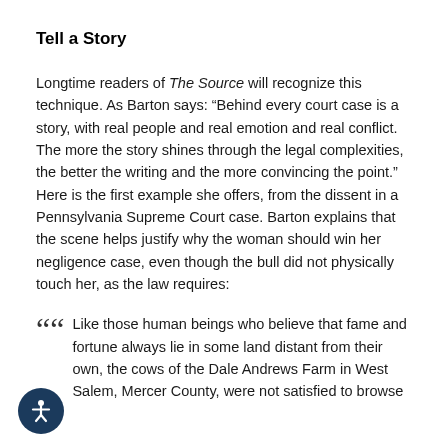Tell a Story
Longtime readers of The Source will recognize this technique. As Barton says: “Behind every court case is a story, with real people and real emotion and real conflict. The more the story shines through the legal complexities, the better the writing and the more convincing the point.” Here is the first example she offers, from the dissent in a Pennsylvania Supreme Court case. Barton explains that the scene helps justify why the woman should win her negligence case, even though the bull did not physically touch her, as the law requires:
““ Like those human beings who believe that fame and fortune always lie in some land distant from their own, the cows of the Dale Andrews Farm in West Salem, Mercer County, were not satisfied to browse